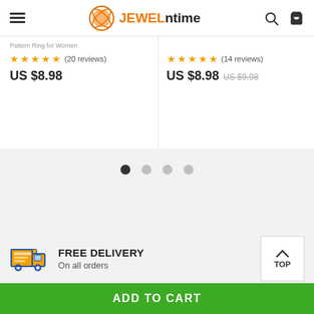JEWELntime
Pattern Ring for Women
★★★★★ (20 reviews) US $8.98
★★★★★ (14 reviews) US $8.98 US $9.98
[Figure (infographic): Carousel pagination dots: 4 dots, first one dark/active, rest light grey]
[Figure (infographic): Free delivery truck icon with orange truck and blue outline]
FREE DELIVERY
On all orders
TOP
ADD TO CART